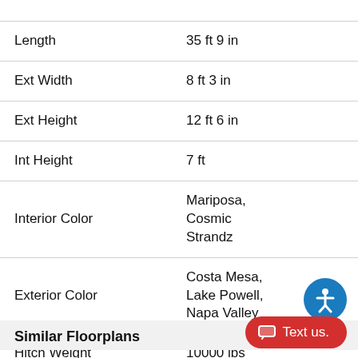| Specification | Value |
| --- | --- |
| Slides |  |
| Length | 35 ft 9 in |
| Ext Width | 8 ft 3 in |
| Ext Height | 12 ft 6 in |
| Int Height | 7 ft |
| Interior Color | Mariposa, Cosmic Strandz |
| Exterior Color | Costa Mesa, Lake Powell, Napa Valley |
| Hitch Weight | 10000 lbs |
| Gross Weight | 19500 lbs |
| Fresh Water Capacity | 65 gals |
Similar Floorplans